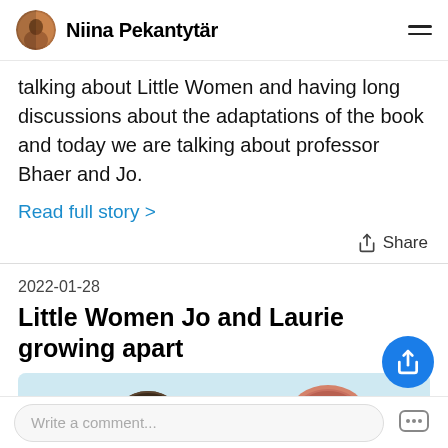Niina Pekantytär
talking about Little Women and having long discussions about the adaptations of the book and today we are talking about professor Bhaer and Jo.
Read full story >
2022-01-28
Little Women Jo and Laurie growing apart
[Figure (illustration): Illustrated heads of two characters — a male with dark hair and a female with reddish pinned-up hair, against a pale blue background]
Write a comment...